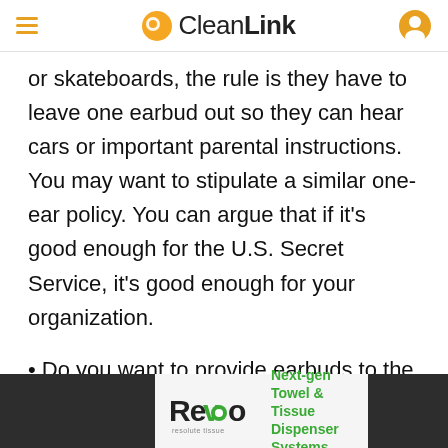CleanLink
or skateboards, the rule is they have to leave one earbud out so they can hear cars or important parental instructions. You may want to stipulate a similar one-ear policy. You can argue that if it’s good enough for the U.S. Secret Service, it’s good enough for your organization.
• Do you want to provide earbuds to the staff? Providing a particular model of
[Figure (other): Advertisement banner for Revo by Resolute Tissue — Next-gen Towel & Tissue Dispenser Systems]